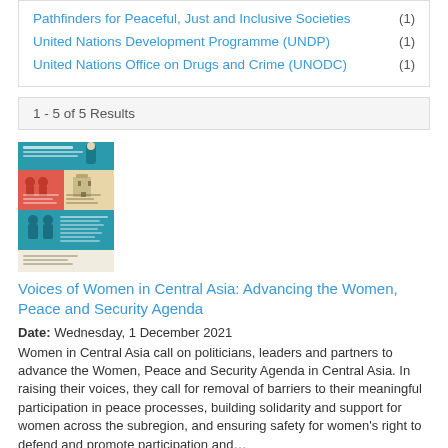Pathfinders for Peaceful, Just and Inclusive Societies (1)
United Nations Development Programme (UNDP) (1)
United Nations Office on Drugs and Crime (UNODC) (1)
1 - 5 of 5 Results
[Figure (infographic): Colorful infographic thumbnail showing a poster about Voices of Women in Central Asia with teal, orange, red and beige sections with illustrated figures of women]
Voices of Women in Central Asia: Advancing the Women, Peace and Security Agenda
Date: Wednesday, 1 December 2021
Women in Central Asia call on politicians, leaders and partners to advance the Women, Peace and Security Agenda in Central Asia. In raising their voices, they call for removal of barriers to their meaningful participation in peace processes, building solidarity and support for women across the subregion, and ensuring safety for women's right to defend and promote participation and...